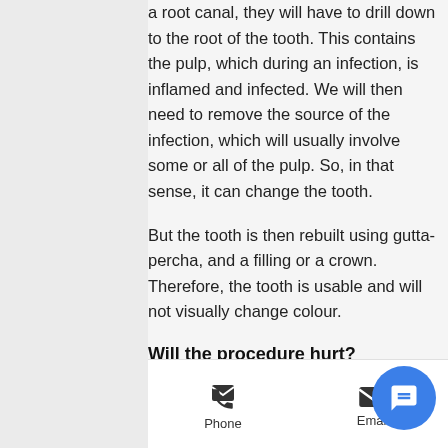a root canal, they will have to drill down to the root of the tooth. This contains the pulp, which during an infection, is inflamed and infected. We will then need to remove the source of the infection, which will usually involve some or all of the pulp. So, in that sense, it can change the tooth.
But the tooth is then rebuilt using gutta-percha, and a filling or a crown. Therefore, the tooth is usable and will not visually change colour.
Will the procedure hurt?
No; we will ensure that the area is numbed before we begin. If you are a nervous